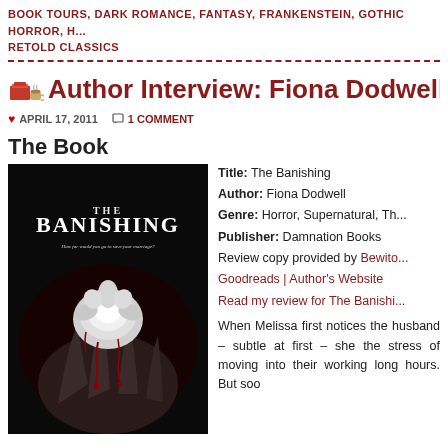BOOK TOURS, DARK ROMANCE, FANTASY, FRANKENSTEIN, GOTHIC HORROR, H... RETOLD CLASSICS
Author Interview: Fiona Dodwell + G
APRIL 17, 2011  1 COMMENT
The Book
[Figure (photo): Book cover of The Banishing by Fiona Dodwell — dark background with a hand holding a white rose splattered with blood]
Title: The Banishing
Author: Fiona Dodwell
Genre: Horror, Supernatural, Th...
Publisher: Damnation Books
Review copy provided by Bewito...
Goodreads | Author's Website
Read my review for The Banishi...
When Melissa first notices the husband – subtle at first – she the stress of moving into their working long hours. But soo